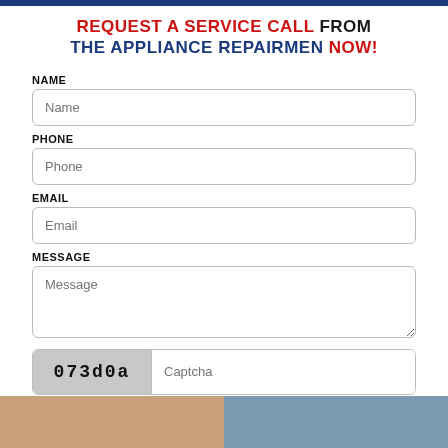REQUEST A SERVICE CALL FROM THE APPLIANCE REPAIRMEN NOW!
NAME
Name
PHONE
Phone
EMAIL
Email
MESSAGE
Message
073d0a
Captcha
SUBMIT
[Figure (photo): Two thumbnail images at the bottom of the page]